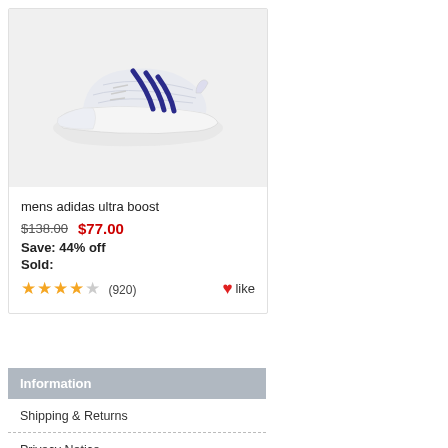[Figure (photo): A white/grey Adidas Ultra Boost sneaker with dark blue stripes on a light grey background]
mens adidas ultra boost
$138.00  $77.00
Save: 44% off
Sold:
★★★★☆ (920)  ♥like
Information
Shipping & Returns
Privacy Notice
F.A.Q
Contact Us
Site Map